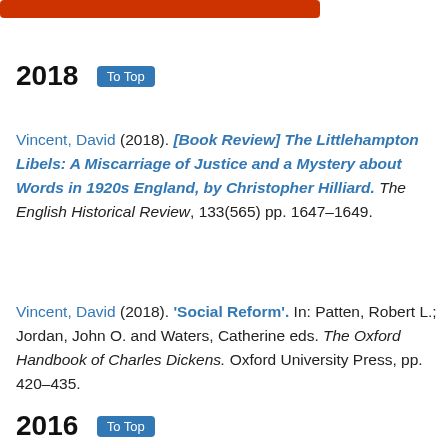[Figure (other): Red/orange decorative bar at top of page]
2018   To Top
Vincent, David (2018). [Book Review] The Littlehampton Libels: A Miscarriage of Justice and a Mystery about Words in 1920s England, by Christopher Hilliard. The English Historical Review, 133(565) pp. 1647–1649.
Vincent, David (2018). 'Social Reform'. In: Patten, Robert L.; Jordan, John O. and Waters, Catherine eds. The Oxford Handbook of Charles Dickens. Oxford University Press, pp. 420–435.
2016   To Top